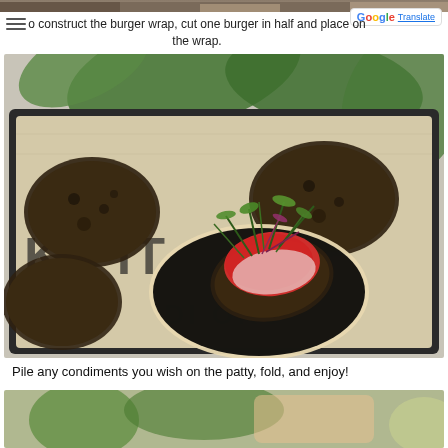[Figure (photo): Top partial image of baked burger patties on a baking sheet]
construct the burger wrap, cut one burger in half and place on the wrap.
[Figure (photo): A baking tray with DI ORO silicone mat showing several black bean/veggie burger patties, with one patty placed on a round flatbread wrap topped with tomato slices, microgreens and other toppings. Green plant leaves visible in background.]
Pile any condiments you wish on the patty, fold, and enjoy!
[Figure (photo): Bottom partial image showing colorful ingredients in a bowl or plate]